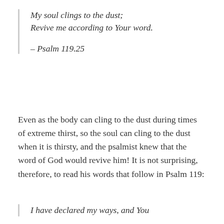My soul clings to the dust;
Revive me according to Your word.

– Psalm 119.25
Even as the body can cling to the dust during times of extreme thirst, so the soul can cling to the dust when it is thirsty, and the psalmist knew that the word of God would revive him! It is not surprising, therefore, to read his words that follow in Psalm 119:
I have declared my ways, and You